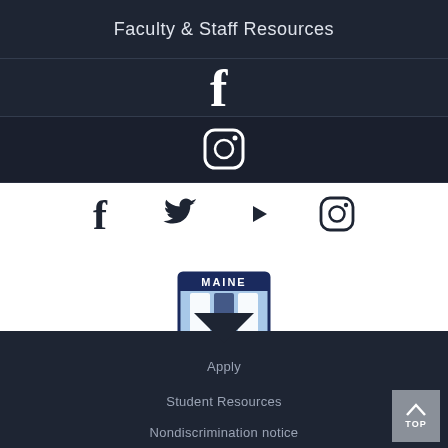Faculty & Staff Resources
[Figure (illustration): Facebook icon (white 'f' letter) on dark background]
[Figure (illustration): Instagram icon (rounded square camera icon) on dark background]
[Figure (illustration): Row of four social media icons on white background: Facebook, Twitter, YouTube, Instagram]
[Figure (logo): University of Maine shield logo with MAINE text and three book pages, pointed at bottom]
Apply
Student Resources
Nondiscrimination notice
[Figure (illustration): TOP button with upward chevron arrow in grey box at bottom right]